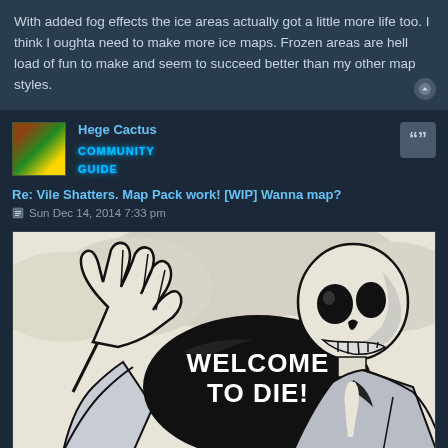With added fog effects the ice areas actually got a little more life too. I think I oughta need to make more ice maps. Frozen areas are hell load of fun to make and seem to succeed better than my other map styles.
Hege Cactus
COMMUNITY GUIDE
Re: Vile Shatters. Map Pack work! [WIP] Wanna map?
Sun Dec 14, 2014 7:33 pm
[Figure (illustration): Black and white comic-style skeleton/grim reaper figure with one hand raised, pointing gesture. Speech bubble reads WELCOME TO DIE! in bold white text on black background. Background shows light gray cloud shapes.]